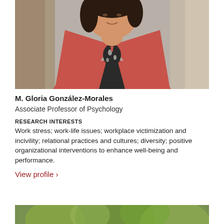[Figure (photo): Headshot photo of M. Gloria González-Morales, a woman wearing a red blazer over a black and white patterned top, with dark hair, photographed against a blurred outdoor/indoor background.]
M. Gloria González-Morales
Associate Professor of Psychology
RESEARCH INTERESTS
Work stress; work-life issues; workplace victimization and incivility; relational practices and cultures; diversity; positive organizational interventions to enhance well-being and performance.
View profile ›
[Figure (photo): Partial photo visible at the bottom of the page, showing a blurred green outdoor background, presumably another faculty member's photo.]